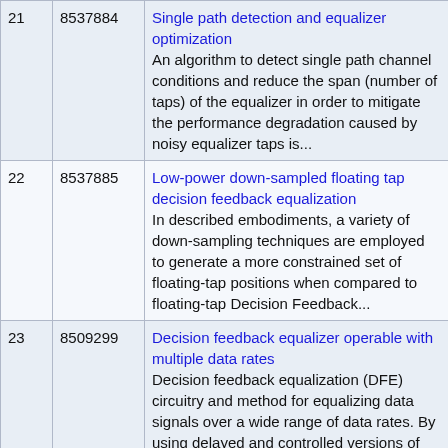| # | Patent No. | Title / Description |
| --- | --- | --- |
| 21 | 8537884 | Single path detection and equalizer optimization
An algorithm to detect single path channel conditions and reduce the span (number of taps) of the equalizer in order to mitigate the performance degradation caused by noisy equalizer taps is... |
| 22 | 8537885 | Low-power down-sampled floating tap decision feedback equalization
In described embodiments, a variety of down-sampling techniques are employed to generate a more constrained set of floating-tap positions when compared to floating-tap Decision Feedback... |
| 23 | 8509299 | Decision feedback equalizer operable with multiple data rates
Decision feedback equalization (DFE) circuitry and method for equalizing data signals over a wide range of data rates. By using delayed and controlled versions of the recovered data clock to... |
| 24 | 8446985 | Method and system for reducing duty cycle |